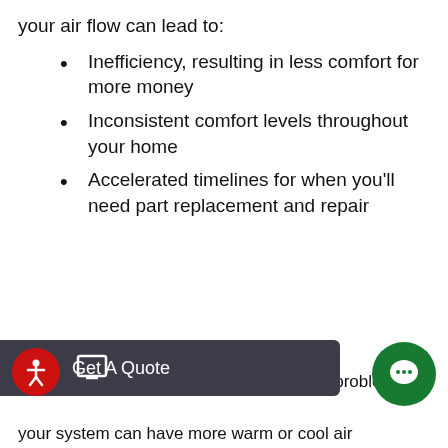your air flow can lead to:
Inefficiency, resulting in less comfort for more money
Inconsistent comfort levels throughout your home
Accelerated timelines for when you'll need part replacement and repair
…a problem bec…
your system can have more warm or cool air…